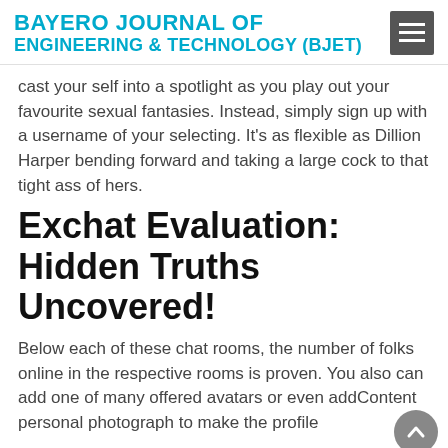BAYERO JOURNAL OF ENGINEERING & TECHNOLOGY (BJET)
cast your self into a spotlight as you play out your favourite sexual fantasies. Instead, simply sign up with a username of your selecting. It’s as flexible as Dillion Harper bending forward and taking a large cock to that tight ass of hers.
Exchat Evaluation: Hidden Truths Uncovered!
Below each of these chat rooms, the number of folks online in the respective rooms is proven. You also can add one of many offered avatars or even addContent personal photograph to make the profile look more distinctive and appealing. But it’s